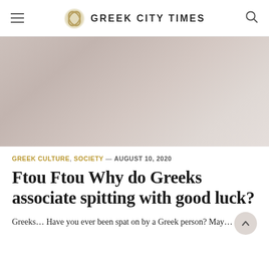GREEK CITY TIMES
[Figure (photo): Blurred muted pink-grey hero image, likely a photo related to the article topic]
GREEK CULTURE, SOCIETY — AUGUST 10, 2020
Ftou Ftou Why do Greeks associate spitting with good luck?
Greeks… Have you ever been spat on by a Greek person? May…